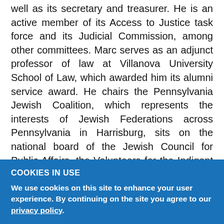well as its secretary and treasurer. He is an active member of its Access to Justice task force and its Judicial Commission, among other committees. Marc serves as an adjunct professor of law at Villanova University School of Law, which awarded him its alumni service award. He chairs the Pennsylvania Jewish Coalition, which represents the interests of Jewish Federations across Pennsylvania in Harrisburg, sits on the national board of the Jewish Council for Public Affairs, the Volunteers for the Indigent (ex officio) and the Public Interest Law Center of Philadelphia (ex officio) and served for many years as a board member and trustee of the Jewish Federation of Greater Philadelphia.
COOKIES IN USE
We use cookies on this site to enhance your user experience. By continuing on the site you agree to our privacy policy.